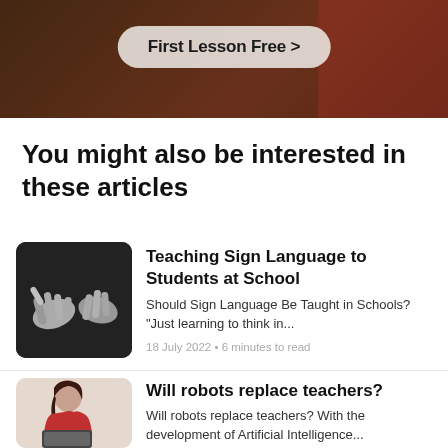[Figure (photo): Dark banner with 'First Lesson Free >' button on a rounded pill-shaped background]
You might also be interested in these articles
[Figure (photo): Black and white photo of hands making sign language gestures]
Teaching Sign Language to Students at School
Should Sign Language Be Taught in Schools? "Just learning to think in...
18 July 2022 • 6 minutes to read
[Figure (photo): Young woman in red jacket smiling, looking at a laptop]
Will robots replace teachers?
Will robots replace teachers? With the development of Artificial Intelligence...